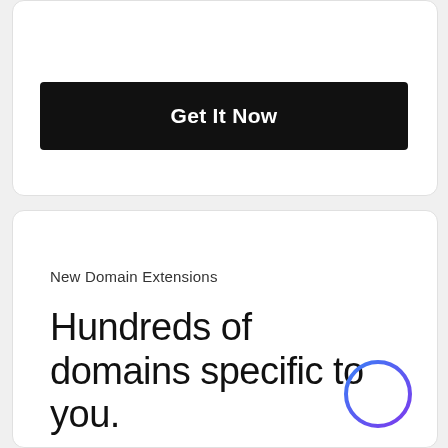[Figure (other): Black button with white bold text reading 'Get It Now']
New Domain Extensions
Hundreds of domains specific to you.
[Figure (illustration): Circle icon with blue-to-purple gradient stroke in bottom right corner]